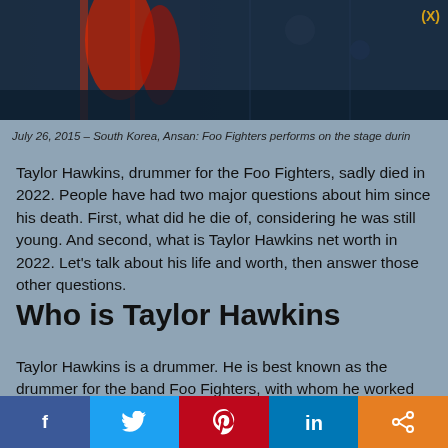[Figure (photo): Concert photo of Foo Fighters performing on stage, dark blue tones with red lighting]
July 26, 2015 – South Korea, Ansan: Foo Fighters performs on the stage durin
Taylor Hawkins, drummer for the Foo Fighters, sadly died in 2022. People have had two major questions about him since his death. First, what did he die of, considering he was still young. And second, what is Taylor Hawkins net worth in 2022. Let's talk about his life and worth, then answer those other questions.
Who is Taylor Hawkins
Taylor Hawkins is a drummer. He is best known as the drummer for the band Foo Fighters, with whom he worked on nine albums. He also released three albums on his own project, Taylor Hawkins and the Coattail Riders. And he formed a supergroup called NHC that
Facebook | Twitter | Pinterest | LinkedIn | Share